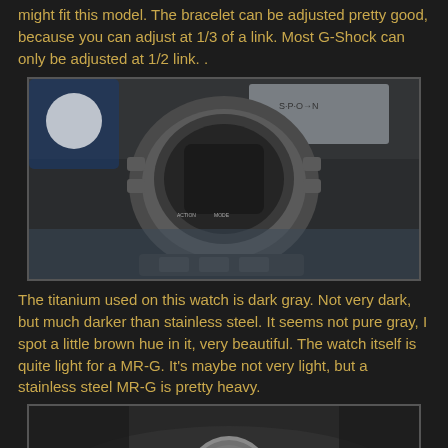might fit this model. The bracelet can be adjusted pretty good, because you can adjust at 1/3 of a link. Most G-Shock can only be adjusted at 1/2 link. .
[Figure (photo): Close-up side view of a G-Shock MR-G titanium watch showing the case, buttons, and bracelet attachment in dark gray titanium finish]
The titanium used on this watch is dark gray. Not very dark, but much darker than stainless steel. It seems not pure gray, I spot a little brown hue in it, very beautiful. The watch itself is quite light for a MR-G. It's maybe not very light, but a stainless steel MR-G is pretty heavy.
[Figure (photo): Extreme close-up macro photo of a Phillips head screw on the G-Shock MR-G titanium watch bracelet]